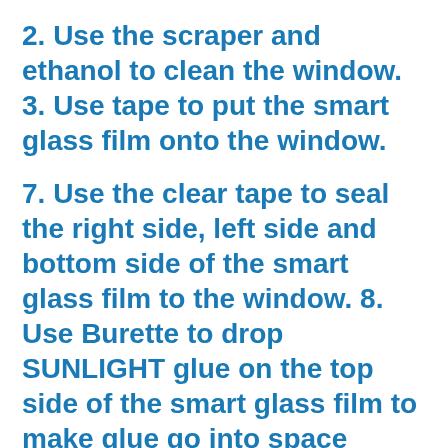2. Use the scraper and ethanol to clean the window. 3. Use tape to put the smart glass film onto the window.
7. Use the clear tape to seal the right side, left side and bottom side of the smart glass film to the window. 8. Use Burette to drop SUNLIGHT glue on the top side of the smart glass film to make glue go into space between smart glass film and window
1. Tools and materials: Scraper, glove, clean tissue, ethanol(70%-90%), SUNLIGHT